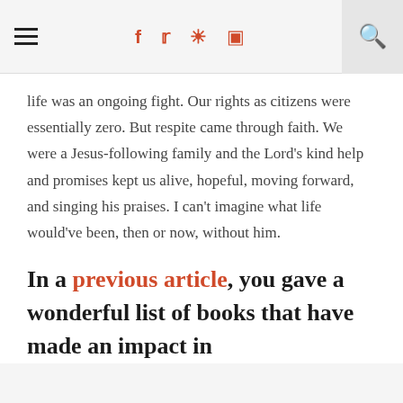≡  f  🐦  p  📷  🔍
life was an ongoing fight. Our rights as citizens were essentially zero. But respite came through faith. We were a Jesus-following family and the Lord's kind help and promises kept us alive, hopeful, moving forward, and singing his praises. I can't imagine what life would've been, then or now, without him.
In a previous article, you gave a wonderful list of books that have made an impact in